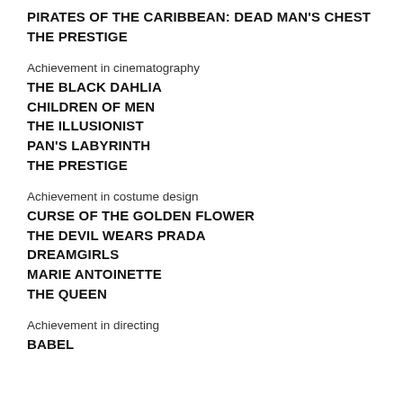PIRATES OF THE CARIBBEAN: DEAD MAN'S CHEST
THE PRESTIGE
Achievement in cinematography
THE BLACK DAHLIA
CHILDREN OF MEN
THE ILLUSIONIST
PAN'S LABYRINTH
THE PRESTIGE
Achievement in costume design
CURSE OF THE GOLDEN FLOWER
THE DEVIL WEARS PRADA
DREAMGIRLS
MARIE ANTOINETTE
THE QUEEN
Achievement in directing
BABEL